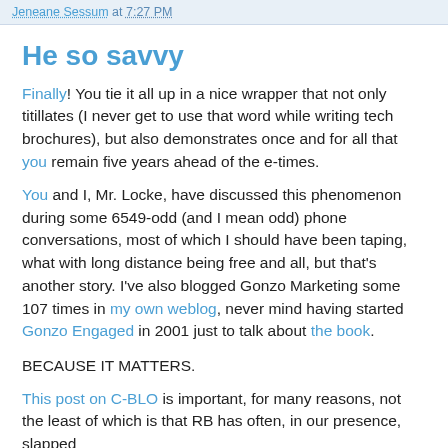Jeneane Sessum at 7:27 PM
He so savvy
Finally! You tie it all up in a nice wrapper that not only titillates (I never get to use that word while writing tech brochures), but also demonstrates once and for all that you remain five years ahead of the e-times.
You and I, Mr. Locke, have discussed this phenomenon during some 6549-odd (and I mean odd) phone conversations, most of which I should have been taping, what with long distance being free and all, but that's another story. I've also blogged Gonzo Marketing some 107 times in my own weblog, never mind having started Gonzo Engaged in 2001 just to talk about the book.
BECAUSE IT MATTERS.
This post on C-BLO is important, for many reasons, not the least of which is that RB has often, in our presence, slapped